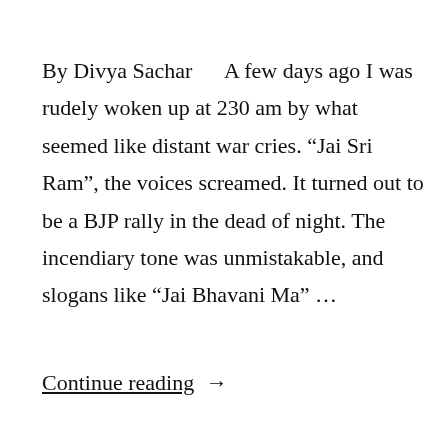By Divya Sachar      A few days ago I was rudely woken up at 230 am by what seemed like distant war cries. “Jai Sri Ram”, the voices screamed. It turned out to be a BJP rally in the dead of night. The incendiary tone was unmistakable, and slogans like “Jai Bhavani Ma” …
Continue reading →